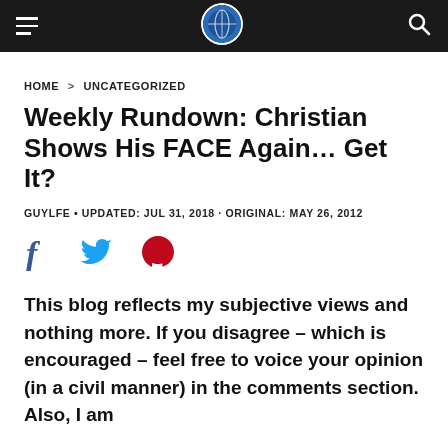Navigation bar with hamburger menu, site logo, and search icon
HOME > UNCATEGORIZED
Weekly Rundown: Christian Shows His FACE Again… Get It?
GUYLFE • UPDATED: JUL 31, 2018 · ORIGINAL: MAY 26, 2012
[Figure (other): Social share icons: Facebook (f), Twitter (bird), Pinterest (P)]
This blog reflects my subjective views and nothing more. If you disagree – which is encouraged – feel free to voice your opinion (in a civil manner) in the comments section. Also, I am